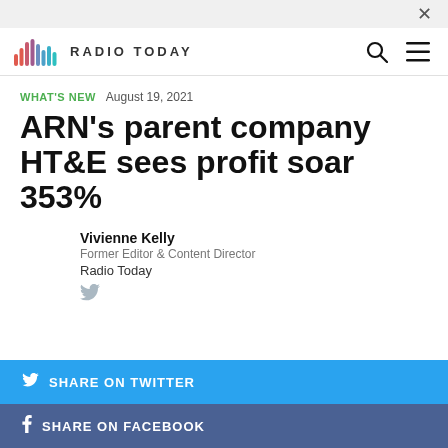RADIO TODAY
WHAT'S NEW   August 19, 2021
ARN's parent company HT&E sees profit soar 353%
Vivienne Kelly
Former Editor & Content Director
Radio Today
SHARE ON TWITTER
SHARE ON FACEBOOK